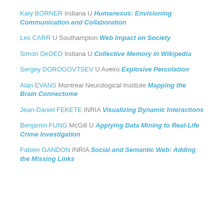Katy BORNER Indiana U Humanexus: Envisioning Communication and Collaboration
Les CARR U Southampton Web Impact on Society
Simon DeDEO Indiana U Collective Memory in Wikipedia
Sergey DOROGOVTSEV U Aveiro Explosive Percolation
Alan EVANS Montreal Neurological Institute Mapping the Brain Connectome
Jean-Daniel FEKETE INRIA Visualizing Dynamic Interactions
Benjamin FUNG McGill U Applying Data Mining to Real-Life Crime Investigation
Fabien GANDON INRIA Social and Semantic Web: Adding the Missing Links